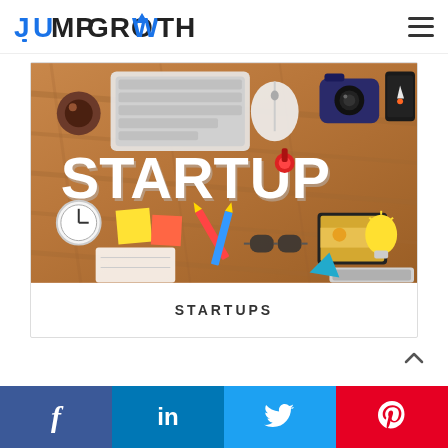JUMPGROWTH
[Figure (illustration): START UP concept illustration with wooden desk texture, 3D white block letters spelling START UP, surrounded by colorful office/tech items: keyboard, coffee mug, camera, clock, sunglasses, lightbulb, pencils, notepad, tablet, laptop keyboard]
STARTUPS
Social share bar with Facebook, LinkedIn, Twitter, Pinterest buttons